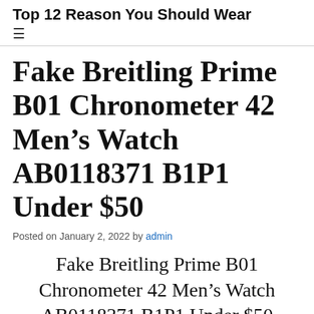Top 12 Reason You Should Wear
Fake Breitling Prime B01 Chronometer 42 Men’s Watch AB0118371 B1P1 Under $50
Posted on January 2, 2022 by admin
Fake Breitling Prime B01 Chronometer 42 Men’s Watch AB0118371 B1P1 Under $50